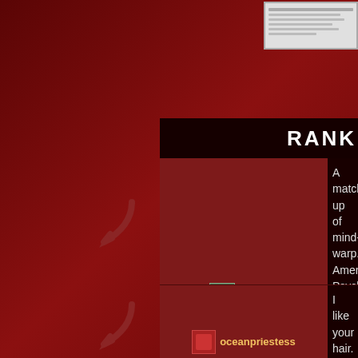[Figure (screenshot): Thumbnail image in top right corner showing a document or page preview]
RANK
oldnick on 7/10/2009 — A match-up of mind-warp... American Psycho gets a go... seems to like the Machinis... much.
oceanpriestess on 7/10/2009 — I like your hair. How do yo...
oceanpriestess on 7/10/2009 — I don't think Scrabble will... Flickchart. How dare you p... Psycho?! "Stupid bitchy!"
The Movie Whore on 7/11/2009 — Both of these are tremend... had to choose which one t... American Psycho. It has be...